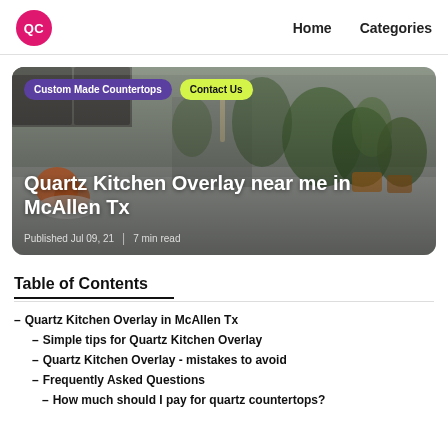QC  Home  Categories
[Figure (photo): Kitchen countertop hero image with purple 'Custom Made Countertops' tag and yellow 'Contact Us' tag, showing 'Quartz Kitchen Overlay near me in McAllen Tx' title and 'Published Jul 09, 21 | 7 min read' metadata]
Table of Contents
– Quartz Kitchen Overlay in McAllen Tx
– Simple tips for Quartz Kitchen Overlay
– Quartz Kitchen Overlay - mistakes to avoid
– Frequently Asked Questions
– How much should I pay for quartz countertops?